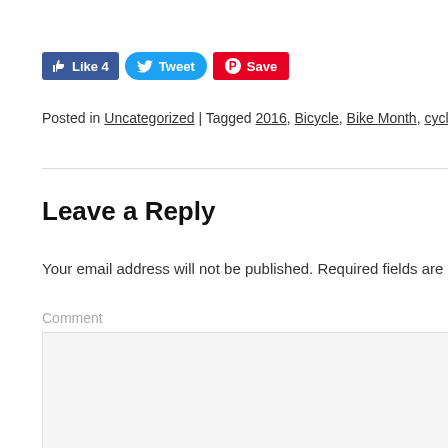[Figure (other): Social sharing buttons: Facebook Like 4, Tweet, Pinterest Save]
Posted in Uncategorized | Tagged 2016, Bicycle, Bike Month, cycling, Scarbo
Leave a Reply
Your email address will not be published. Required fields are mark
Comment